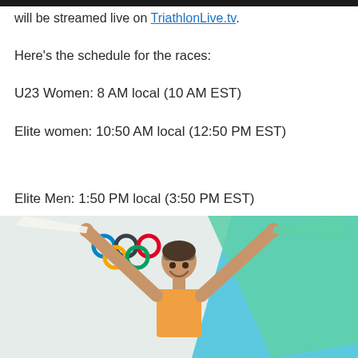will be streamed live on TriathlonLive.tv.
Here's the schedule for the races:
U23 Women: 8 AM local (10 AM EST)
Elite women: 10:50 AM local (12:50 PM EST)
Elite Men: 1:50 PM local (3:50 PM EST)
U23 Men: 4:30 PM local (6:30 PM EST)
[Figure (photo): Athlete celebrating holding flags including an Italian/Olympic flag, teal flag visible, blue sky background]